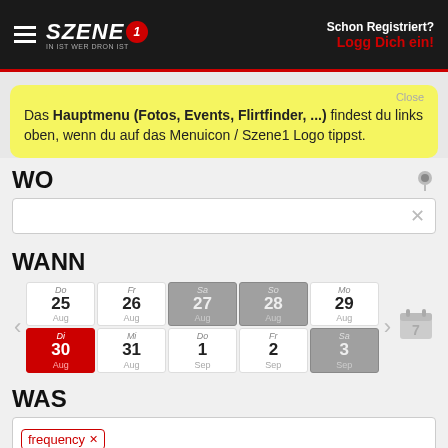Szene1 — IN IST WER DRON IST | Schon Registriert? Logg Dich ein!
Das Hauptmenu (Fotos, Events, Flirtfinder, ...) findest du links oben, wenn du auf das Menuicon / Szene1 Logo tippst.
WO
WANN
[Figure (other): Date picker calendar grid showing two rows of dates: Row 1: Do 25 Aug, Fr 26 Aug, Sa 27 Aug (gray), So 28 Aug (gray), Mo 29 Aug; Row 2: Di 30 Aug (red/selected), Mi 31 Aug, Do 1 Sep, Fr 2 Sep, Sa 3 Sep (gray). Navigation arrows left and right, calendar icon with number 7.]
WAS
frequency ×
SUCHEN